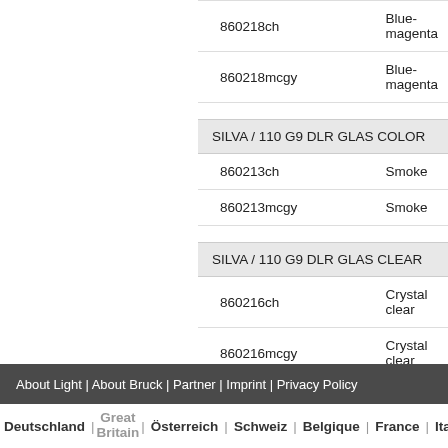| Product code | Color |
| --- | --- |
| 860218ch | Blue-magenta |
| 860218mcgy | Blue-magenta |
| SILVA / 110 G9 DLR GLAS COLOR |  |
| 860213ch | Smoke |
| 860213mcgy | Smoke |
| SILVA / 110 G9 DLR GLAS CLEAR |  |
| 860216ch | Crystal clear |
| 860216mcgy | Crystal clear |
| SILVA / 110 G9 DLR GLAS OPAL |  |
| 860366ch | White |
| 860366mcgy | White |
About Light | About Bruck | Partner | Imprint | Privacy Policy
Deutschland | Great Britain | Österreich | Schweiz | Belgique | France | Italia